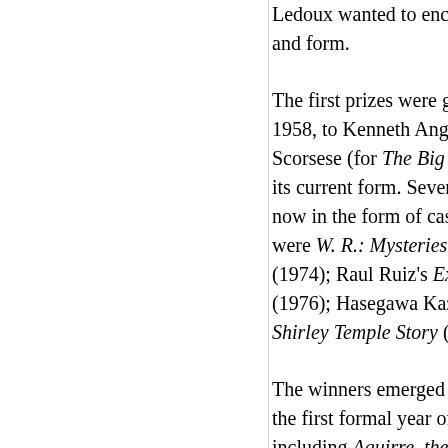Ledoux wanted to encourage a cinema that was and form.
The first prizes were given within the framework 1958, to Kenneth Anger; in 1963, to Claes Olde Scorsese (for The Big Shave). In 1973, the prize its current form. Several films were screened fo now in the form of cash, was decided by a jury were W. R.: Mysteries of the Organism (in 1973 (1974); Raul Ruiz's Expropriation (1975); Ang (1976); Hasegawa Kazuhiko's Young Murderer Shirley Temple Story (1978).
The winners emerged from a vast and powerful the first formal year of L'Age d'or, there were s including Aguirre, the Wrath of God, Oshima's Heat, Tout va bien, and works by Rosa von Pra Miklós Jancsó. There was even The Discreet Ch Buñuel didn't win a prize named after his own dropped a little as the years passed, but it's goo on Precinct 13, Eraserhead, Perceval le Galloi